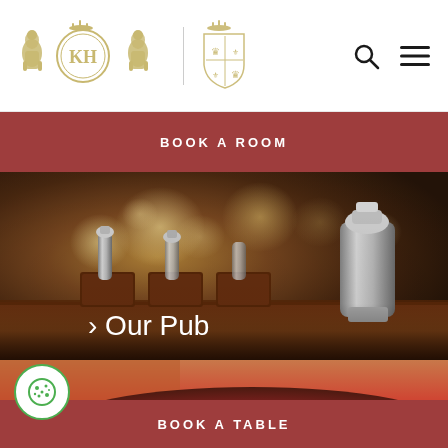King's Head Hotel logo and navigation header
BOOK A ROOM
[Figure (photo): Close-up photo of beer pump taps on a pub bar, with bokeh lighting in background, warm brown tones. Text overlay reads '> Our Pub']
[Figure (photo): Close-up photo of a bowl of red tomato soup with cream swirl on top, warm food photography]
BOOK A TABLE